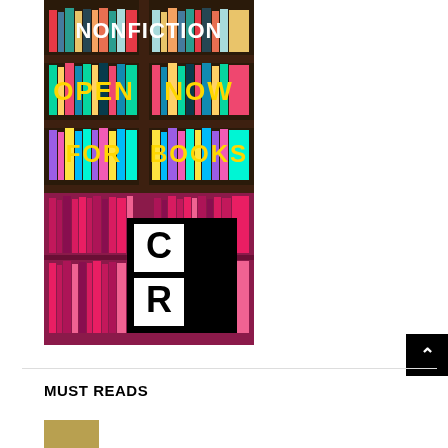[Figure (photo): A bookshelf photo with colorful books arranged on shelves. Text overlaid reads 'NONFICTION' at the top in white, 'OPEN NOW' in yellow/colorful letters in the middle, and 'FOR BOOKS' below that. A black and white logo with 'C' and 'R' in separate boxes appears in the lower half over a pink/magenta section of shelves.]
MUST READS